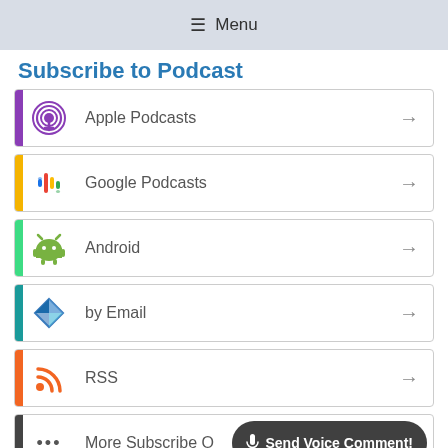≡ Menu
Subscribe to Podcast
Apple Podcasts
Google Podcasts
Android
by Email
RSS
More Subscribe O... | Send Voice Comment!